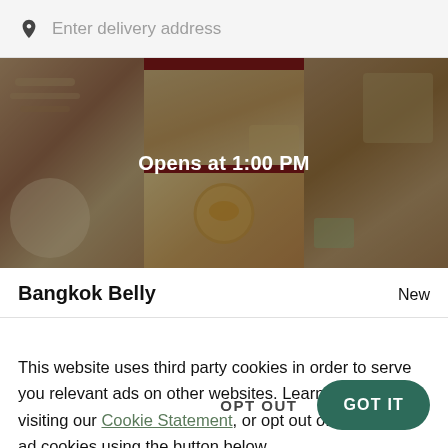Enter delivery address
[Figure (photo): Food delivery app screenshot showing Thai food dishes on a darkened background with text 'Opens at 1:00 PM']
Bangkok Belly
New
This website uses third party cookies in order to serve you relevant ads on other websites. Learn more by visiting our Cookie Statement, or opt out of third party ad cookies using the button below.
OPT OUT
GOT IT